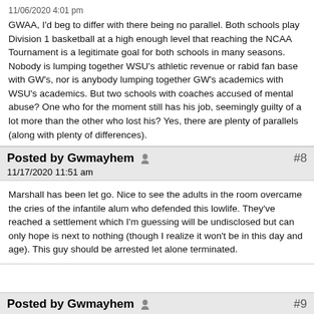11/06/2020 4:01 pm
GWAA, I'd beg to differ with there being no parallel.  Both schools play Division 1 basketball at a high enough level that reaching the NCAA Tournament is a legitimate goal for both schools in many seasons.  Nobody is lumping together WSU's athletic revenue or rabid fan base with GW's, nor is anybody lumping together GW's academics with WSU's academics.  But two schools with coaches accused of mental abuse?  One who for the moment still has his job, seemingly guilty of a lot more than the other who lost his?  Yes, there are plenty of parallels (along with plenty of differences).
Posted by Gwmayhem  #8
11/17/2020 11:51 am
Marshall has been let go.  Nice to see the adults in the room overcame the cries of the infantile alum who defended this lowlife.  They've reached a settlement which I'm guessing will be undisclosed but can only hope is next to nothing (though I realize it won't be in this day and age).  This guy should be arrested let alone terminated.
Posted by Gwmayhem  #9